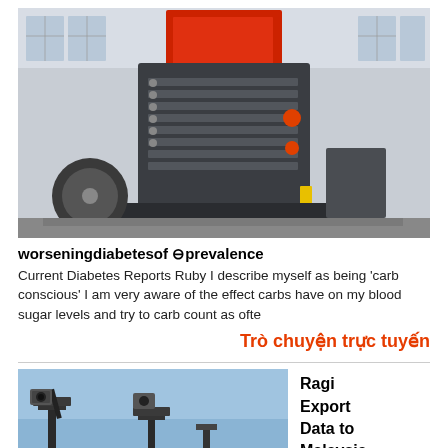[Figure (photo): Large industrial machine (crusher/shredder) with red and dark grey components in a factory/warehouse setting with windows and high ceiling]
worseningdiabetesof ⊖prevalence
Current Diabetes Reports Ruby I describe myself as being 'carb conscious' I am very aware of the effect carbs have on my blood sugar levels and try to carb count as ofte
Trò chuyện trực tuyến
[Figure (photo): Industrial conveyor/crane equipment against blue sky]
Ragi Export Data to Malaysia